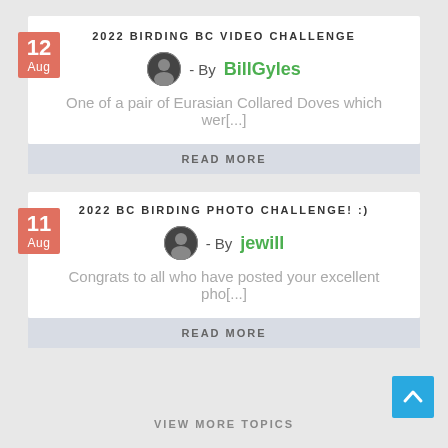2022 BIRDING BC VIDEO CHALLENGE
- By BillGyles
One of a pair of Eurasian Collared Doves which wer[...]
READ MORE
2022 BC BIRDING PHOTO CHALLENGE! :)
- By jewill
Congrats to all who have posted your excellent pho[...]
READ MORE
VIEW MORE TOPICS